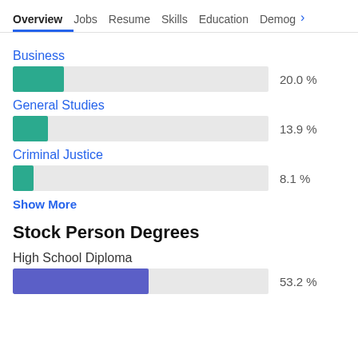Overview  Jobs  Resume  Skills  Education  Demog >
Business
[Figure (bar-chart): Business]
General Studies
[Figure (bar-chart): General Studies]
Criminal Justice
[Figure (bar-chart): Criminal Justice]
Show More
Stock Person Degrees
High School Diploma
[Figure (bar-chart): High School Diploma]